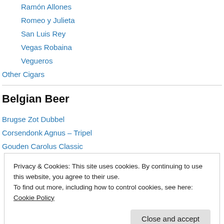Ramón Allones
Romeo y Julieta
San Luis Rey
Vegas Robaina
Vegueros
Other Cigars
Belgian Beer
Brugse Zot Dubbel
Corsendonk Agnus – Tripel
Gouden Carolus Classic
Privacy & Cookies: This site uses cookies. By continuing to use this website, you agree to their use.
To find out more, including how to control cookies, see here: Cookie Policy
Petrus Aged Pale